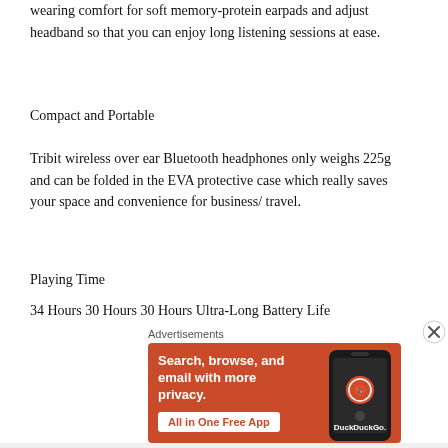wearing comfort for soft memory-protein earpads and adjust headband so that you can enjoy long listening sessions at ease.
Compact and Portable
Tribit wireless over ear Bluetooth headphones only weighs 225g and can be folded in the EVA protective case which really saves your space and convenience for business/ travel.
Playing Time
34 Hours 30 Hours 30 Hours Ultra-Long Battery Life
[Figure (other): DuckDuckGo advertisement banner with orange background showing 'Search, browse, and email with more privacy. All in One Free App' with a phone graphic and DuckDuckGo logo]